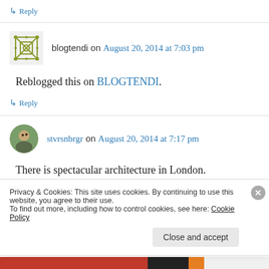↳ Reply
blogtendi on August 20, 2014 at 7:03 pm
Reblogged this on BLOGTENDI.
↳ Reply
stvrsnbrgr on August 20, 2014 at 7:17 pm
There is spectacular architecture in London.
Privacy & Cookies: This site uses cookies. By continuing to use this website, you agree to their use. To find out more, including how to control cookies, see here: Cookie Policy
Close and accept